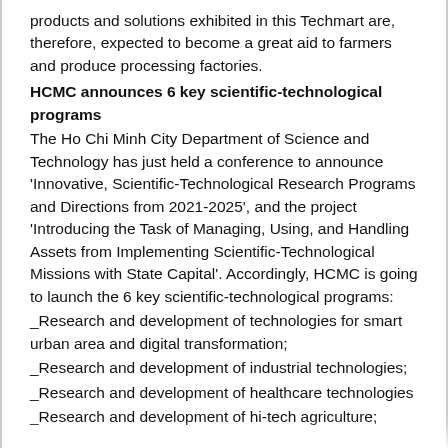products and solutions exhibited in this Techmart are, therefore, expected to become a great aid to farmers and produce processing factories.
HCMC announces 6 key scientific-technological programs
The Ho Chi Minh City Department of Science and Technology has just held a conference to announce 'Innovative, Scientific-Technological Research Programs and Directions from 2021-2025', and the project 'Introducing the Task of Managing, Using, and Handling Assets from Implementing Scientific-Technological Missions with State Capital'. Accordingly, HCMC is going to launch the 6 key scientific-technological programs:
_Research and development of technologies for smart urban area and digital transformation;
_Research and development of industrial technologies;
_Research and development of healthcare technologies
_Research and development of hi-tech agriculture;